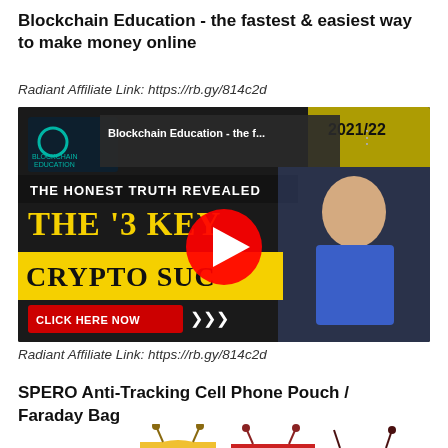Blockchain Education - the fastest & easiest way to make money online
Radiant Affiliate Link: https://rb.gy/814c2d
[Figure (screenshot): YouTube video thumbnail for Blockchain Education showing a man in blue shirt, text 'THE HONEST TRUTH REVEALED', 'THE 3 KEYS TO CRYPTO SUCCESS', 'CLICK HERE NOW', red YouTube play button, and 2021/22 banner]
Radiant Affiliate Link: https://rb.gy/814c2d
SPERO Anti-Tracking Cell Phone Pouch / Faraday Bag
[Figure (photo): Product image showing small drawstring pouches/bags in yellow and red colors]